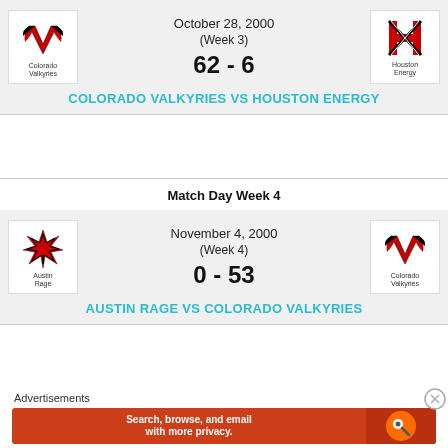October 28, 2000
(Week 3)
62 - 6
COLORADO VALKYRIES VS HOUSTON ENERGY
Match Day Week 4
November 4, 2000
(Week 4)
0 - 53
AUSTIN RAGE VS COLORADO VALKYRIES
Advertisements
[Figure (other): DuckDuckGo advertisement banner: Search, browse, and email with more privacy. All in One Free App.]